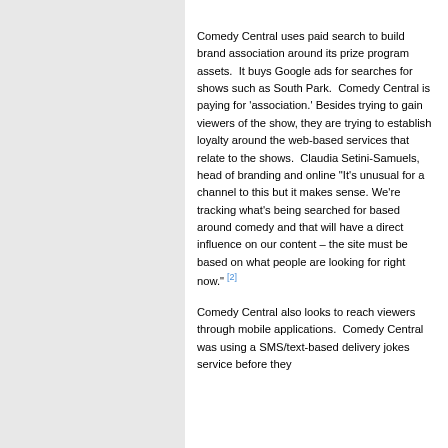Comedy Central uses paid search to build brand association around its prize program assets.  It buys Google ads for searches for shows such as South Park.  Comedy Central is paying for 'association.' Besides trying to gain viewers of the show, they are trying to establish loyalty around the web-based services that relate to the shows.  Claudia Setini-Samuels, head of branding and online "It's unusual for a channel to this but it makes sense. We're tracking what's being searched for based around comedy and that will have a direct influence on our content – the site must be based on what people are looking for right now." [2]
Comedy Central also looks to reach viewers through mobile applications.  Comedy Central was using a SMS/text-based delivery jokes service before they